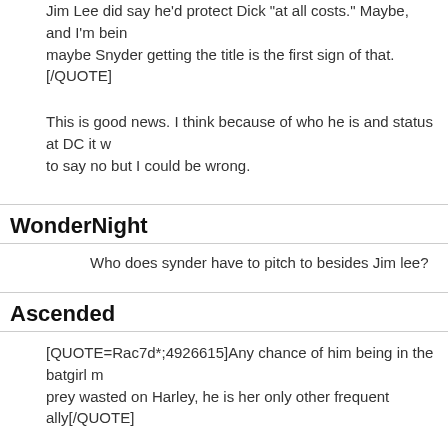Jim Lee did say he'd protect Dick "at all costs." Maybe, and I'm being maybe Snyder getting the title is the first sign of that.[/QUOTE]
This is good news. I think because of who he is and status at DC it w to say no but I could be wrong.
WonderNight
Who does synder have to pitch to besides Jim lee?
Ascended
[QUOTE=Rac7d*;4926615]Any chance of him being in the batgirl m prey wasted on Harley, he is her only other frequent ally[/QUOTE]
Hard pass.
I doubt that Batgirl film is happening anyway. And given DC's track r be that good if it did get made. But Dick can carry his own film, he d supporting player in Babs' movie. And I feel like a lot of Dick's intera leave either of them looking too good, and that's a poor foundation t
I'd accept Dick as a supporting character in a Batman movie, just be